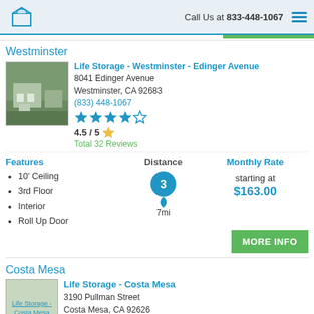Call Us at 833-448-1067
Westminster
Life Storage - Westminster - Edinger Avenue
8041 Edinger Avenue
Westminster, CA 92683
(833) 448-1067
4.5 / 5
Total 32 Reviews
Features
10' Ceiling
3rd Floor
Interior
Roll Up Door
Distance
3
7mi
Monthly Rate
starting at
$163.00
Costa Mesa
Life Storage - Costa Mesa
3190 Pullman Street
Costa Mesa, CA 92626
(833) 448-1067